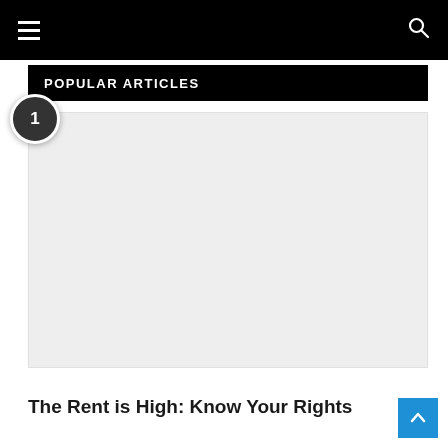Navigation bar with hamburger menu and search icon
POPULAR ARTICLES
[Figure (photo): Placeholder image area for article #1, light gray background]
The Rent is High: Know Your Rights